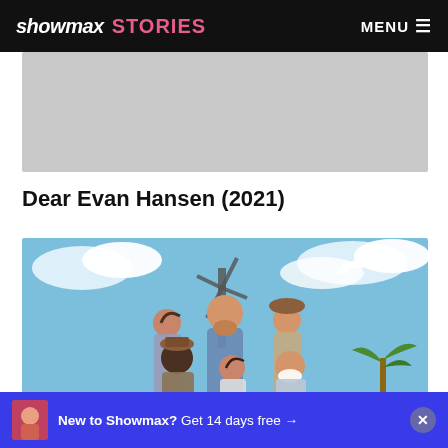showmax STORIES    MENU ≡
[Figure (photo): Grey placeholder image area below the header]
Dear Evan Hansen (2021)
[Figure (photo): Movie poster for Dear Evan Hansen showing a group of people including a man in a plaid shirt in the center, others around him, against a blue sky background with clouds, a windmill, and a white bird.]
New to Showmax? Get 14 days free →